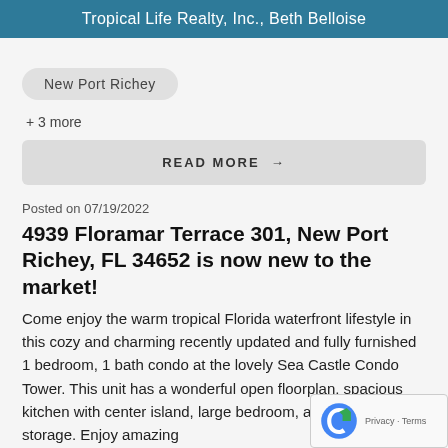Tropical Life Realty, Inc., Beth Belloise
New Port Richey
+ 3 more
READ MORE →
Posted on 07/19/2022
4939 Floramar Terrace 301, New Port Richey, FL 34652 is now new to the market!
Come enjoy the warm tropical Florida waterfront lifestyle in this cozy and charming recently updated and fully furnished 1 bedroom, 1 bath condo at the lovely Sea Castle Condo Tower. This unit has a wonderful open floorplan, spacious kitchen with center island, large bedroom, and offers tons of storage. Enjoy amazing